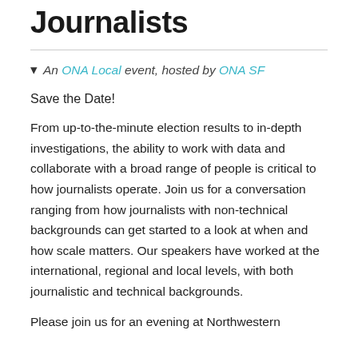Journalists
An ONA Local event, hosted by ONA SF
Save the Date!
From up-to-the-minute election results to in-depth investigations, the ability to work with data and collaborate with a broad range of people is critical to how journalists operate. Join us for a conversation ranging from how journalists with non-technical backgrounds can get started to a look at when and how scale matters. Our speakers have worked at the international, regional and local levels, with both journalistic and technical backgrounds.
Please join us for an evening at Northwestern